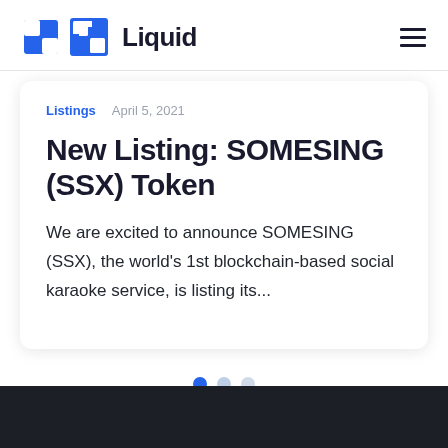Liquid
Listings   April 5, 2021
New Listing: SOMESING (SSX) Token
We are excited to announce SOMESING (SSX), the world's 1st blockchain-based social karaoke service, is listing its...